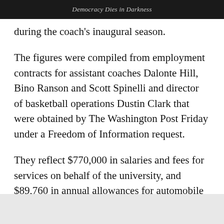Democracy Dies in Darkness
during the coach's inaugural season.
The figures were compiled from employment contracts for assistant coaches Dalonte Hill, Bino Ranson and Scott Spinelli and director of basketball operations Dustin Clark that were obtained by The Washington Post Friday under a Freedom of Information request.
They reflect $770,000 in salaries and fees for services on behalf of the university, and $89,760 in annual allowances for automobile and cellphone use and one-time relocation expenses for Hill, Spinelli and Clark.
The payments were distributed among the staff as follows: